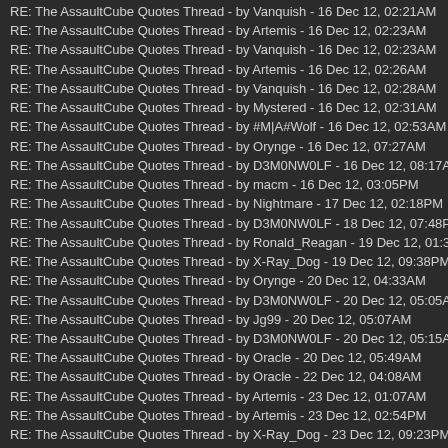RE: The AssaultCube Quotes Thread - by Vanquish - 16 Dec 12, 02:21AM
RE: The AssaultCube Quotes Thread - by Artemis - 16 Dec 12, 02:23AM
RE: The AssaultCube Quotes Thread - by Vanquish - 16 Dec 12, 02:23AM
RE: The AssaultCube Quotes Thread - by Artemis - 16 Dec 12, 02:26AM
RE: The AssaultCube Quotes Thread - by Vanquish - 16 Dec 12, 02:28AM
RE: The AssaultCube Quotes Thread - by Mystered - 16 Dec 12, 02:31AM
RE: The AssaultCube Quotes Thread - by #M|A#Wolf - 16 Dec 12, 02:53AM
RE: The AssaultCube Quotes Thread - by Orynge - 16 Dec 12, 07:27AM
RE: The AssaultCube Quotes Thread - by D3M0NW0LF - 16 Dec 12, 08:17AM
RE: The AssaultCube Quotes Thread - by macm - 16 Dec 12, 03:05PM
RE: The AssaultCube Quotes Thread - by Nightmare - 17 Dec 12, 02:18PM
RE: The AssaultCube Quotes Thread - by D3M0NW0LF - 18 Dec 12, 07:48PM
RE: The AssaultCube Quotes Thread - by Ronald_Reagan - 19 Dec 12, 01:34A
RE: The AssaultCube Quotes Thread - by X-Ray_Dog - 19 Dec 12, 09:38PM
RE: The AssaultCube Quotes Thread - by Orynge - 20 Dec 12, 04:33AM
RE: The AssaultCube Quotes Thread - by D3M0NW0LF - 20 Dec 12, 05:05AM
RE: The AssaultCube Quotes Thread - by Jg99 - 20 Dec 12, 05:07AM
RE: The AssaultCube Quotes Thread - by D3M0NW0LF - 20 Dec 12, 05:15AM
RE: The AssaultCube Quotes Thread - by Oracle - 20 Dec 12, 05:49AM
RE: The AssaultCube Quotes Thread - by Oracle - 22 Dec 12, 04:08AM
RE: The AssaultCube Quotes Thread - by Artemis - 23 Dec 12, 01:07AM
RE: The AssaultCube Quotes Thread - by Artemis - 23 Dec 12, 02:54PM
RE: The AssaultCube Quotes Thread - by X-Ray_Dog - 23 Dec 12, 09:23PM
RE: The AssaultCube Quotes Thread - by ELPAPASITO3000 - 30 Dec 12, 12:1
RE: The AssaultCube Quotes Thread - by jamz - 30 Dec 12, 09:38AM